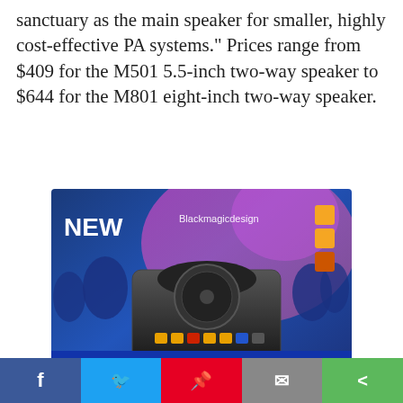sanctuary as the main speaker for smaller, highly cost-effective PA systems." Prices range from $409 for the M501 5.5-inch two-way speaker to $644 for the M801 eight-inch two-way speaker.
[Figure (photo): Advertisement for Blackmagic Design HyperDeck Shuttle HD showing a hardware device with control buttons on a blue gradient background with concert/event lighting imagery. Text reads: NEW, Blackmagicdesign, HyperDeck Shuttle HD, The desktop HyperDeck that's the perfect live production clip player and master recorder! Learn More >]
Social share bar with Facebook, Twitter, Pinterest, Email, and Share buttons